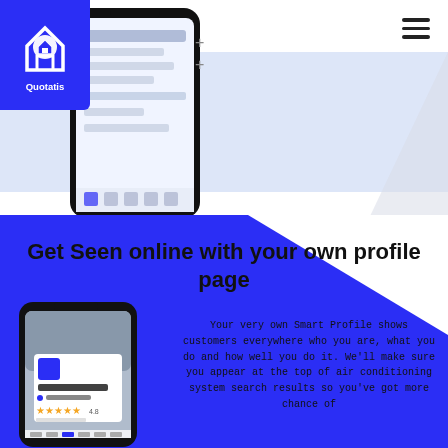[Figure (logo): Quotatis logo: white house icon with speech bubble on blue pentagon-shaped background with 'Quotatis' text]
[Figure (screenshot): Smartphone showing the Quotatis app interface with job listings or messages]
[Figure (screenshot): Smartphone showing 'MY GLAZING BRAND' profile page with 5-star rating, Norwich location, on Quotatis app]
Get Seen online with your own profile page
Your very own Smart Profile shows customers everywhere who you are, what you do and how well you do it. We'll make sure you appear at the top of air conditioning system search results so you've got more chance of